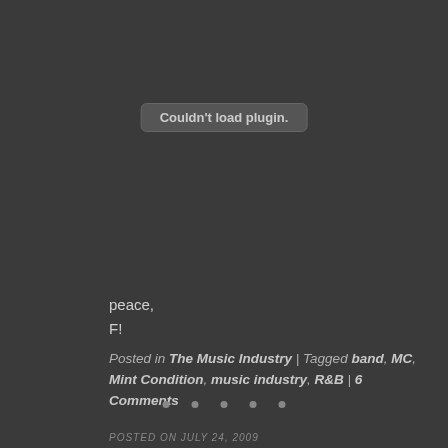[Figure (other): Embedded plugin area showing 'Couldn't load plugin.' error message in a rounded rectangle]
peace,
F!
Posted in The Music Industry | Tagged band, MC, Mint Condition, music industry, R&B | 6 Comments
[Figure (other): Five small dot separators arranged horizontally]
POSTED ON JULY 24, 2009
location awareness – gps can be cool